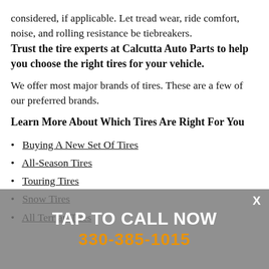considered, if applicable. Let tread wear, ride comfort, noise, and rolling resistance be tiebreakers. Trust the tire experts at Calcutta Auto Parts to help you choose the right tires for your vehicle.
We offer most major brands of tires. These are a few of our preferred brands.
Learn More About Which Tires Are Right For You
Buying A New Set Of Tires
All-Season Tires
Touring Tires
Snow Tires
All Terrian Tires
[Figure (infographic): Gray overlay popup with TAP TO CALL NOW text in white and phone number 330-385-1015 in orange, with X close button in top right corner]